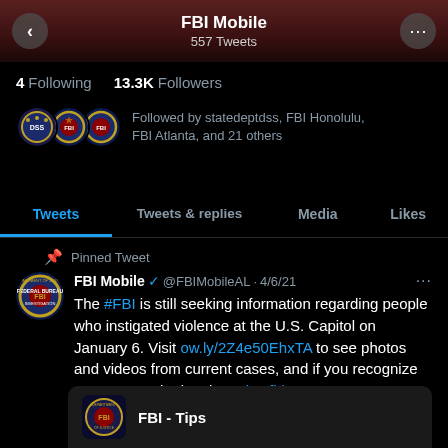FBI Mobile
557 Tweets
4 Following  13.3K Followers
Followed by statedeptdss, FBI Honolulu, FBI Atlanta, and 21 others
Tweets  Tweets & replies  Media  Likes
Pinned Tweet
FBI Mobile @FBIMobileAL · 4/6/21
The #FBI is still seeking information regarding people who instigated violence at the U.S. Capitol on January 6. Visit ow.ly/2Z4e50EhxTA to see photos and videos from current cases, and if you recognize someone, submit a tip at tips.fbi.gov.
FBI - Tips